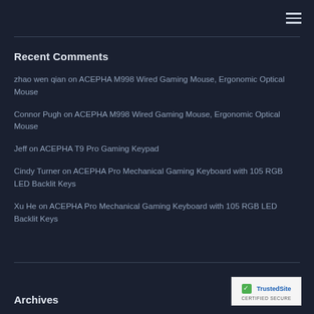Recent Comments
zhao wen qian on ACEPHA M998 Wired Gaming Mouse, Ergonomic Optical Mouse
Connor Pugh on ACEPHA M998 Wired Gaming Mouse, Ergonomic Optical Mouse
Jeff on ACEPHA T9 Pro Gaming Keypad
Cindy Turner on ACEPHA Pro Mechanical Gaming Keyboard with 105 RGB LED Backlit Keys
Xu He on ACEPHA Pro Mechanical Gaming Keyboard with 105 RGB LED Backlit Keys
Archives
[Figure (logo): TrustedSite Certified Secure badge with green checkmark]